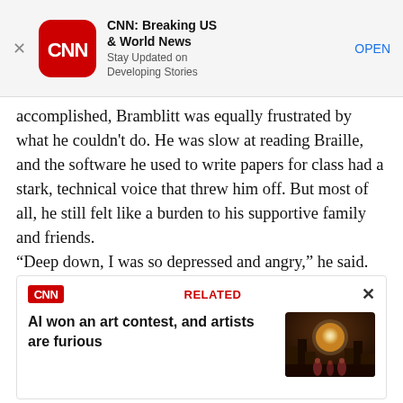[Figure (screenshot): CNN app advertisement banner with CNN red rounded square logo, app name 'CNN: Breaking US & World News', subtitle 'Stay Updated on Developing Stories', and blue OPEN button. Close X on left.]
accomplished, Bramblitt was equally frustrated by what he couldn't do. He was slow at reading Braille, and the software he used to write papers for class had a stark, technical voice that threw him off. But most of all, he still felt like a burden to his supportive family and friends.
“Deep down, I was so depressed and angry,” he said. “Even though I was around people I had known
[Figure (screenshot): CNN Related content box with CNN red logo, RELATED label in red, X close button, headline 'AI won an art contest, and artists are furious', and a thumbnail image of a fantasy scene with figures in robes before a glowing moon.]